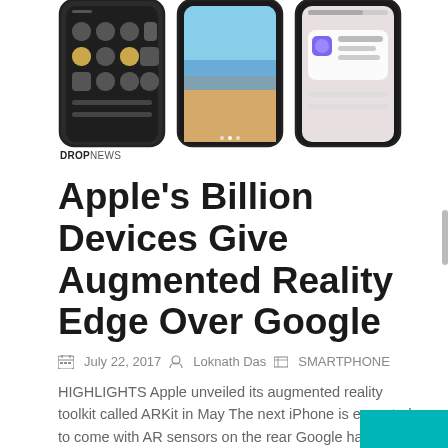[Figure (screenshot): Three iPhone mockups showing iOS control center and lock screen interfaces]
DROPNEWS
Apple's Billion Devices Give Augmented Reality Edge Over Google
July 22, 2017  Loknath Das  SMARTPHONE
HIGHLIGHTS Apple unveiled its augmented reality toolkit called ARKit in May The next iPhone is expected to come with AR sensors on the rear Google has its own AR software system under Project Tango Later […]